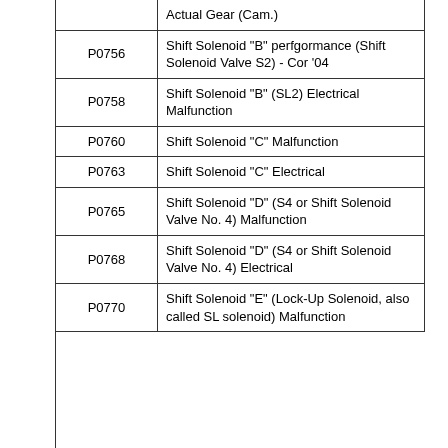| Code | Description |
| --- | --- |
|  | Actual Gear (Cam.) |
| P0756 | Shift Solenoid "B" perfgormance (Shift Solenoid Valve S2) - Cor '04 |
| P0758 | Shift Solenoid "B" (SL2) Electrical Malfunction |
| P0760 | Shift Solenoid "C" Malfunction |
| P0763 | Shift Solenoid "C" Electrical |
| P0765 | Shift Solenoid "D" (S4 or Shift Solenoid Valve No. 4) Malfunction |
| P0768 | Shift Solenoid "D" (S4 or Shift Solenoid Valve No. 4) Electrical |
| P0770 | Shift Solenoid "E" (Lock-Up Solenoid, also called SL solenoid) Malfunction |